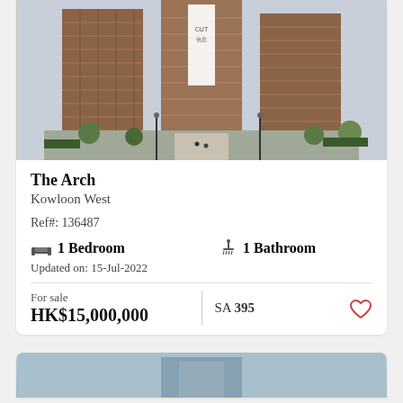[Figure (photo): Exterior photo of The Arch residential tower in Kowloon West, Hong Kong — tall brick-coloured skyscraper complex with a large white banner, surrounded by greenery]
The Arch
Kowloon West
Ref#: 136487
1 Bedroom   1 Bathroom
Updated on: 15-Jul-2022
For sale
HK$15,000,000
SA 395
[Figure (photo): Partial view of a second property listing image at the bottom of the page]